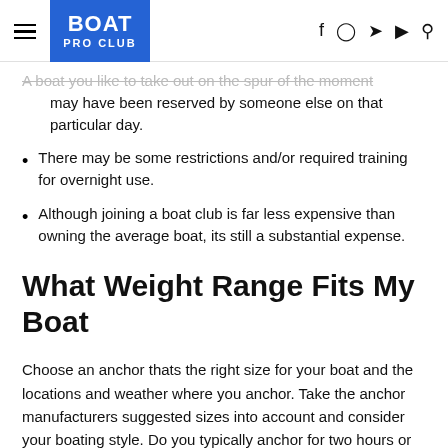BOAT PRO CLUB
A boat you like to take out on the spur of the moment may have been reserved by someone else on that particular day.
There may be some restrictions and/or required training for overnight use.
Although joining a boat club is far less expensive than owning the average boat, its still a substantial expense.
What Weight Range Fits My Boat
Choose an anchor thats the right size for your boat and the locations and weather where you anchor. Take the anchor manufacturers suggested sizes into account and consider your boating style. Do you typically anchor for two hours or for two weeks, in a lake or in the Atlantic Ocean? The